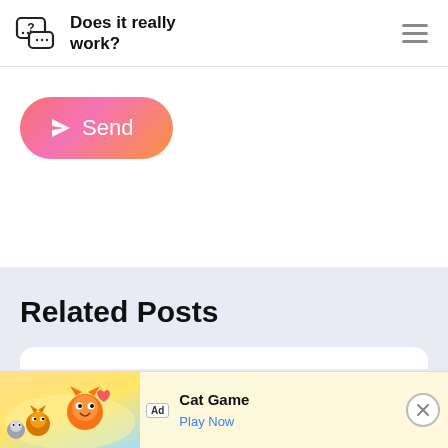Does it really work?
[Figure (illustration): Send button with gradient pink-to-orange background and paper plane icon]
Related Posts
[Figure (screenshot): Advertisement banner: Ad | Cat Game characters illustration | Cat Game | Play Now | X close button]